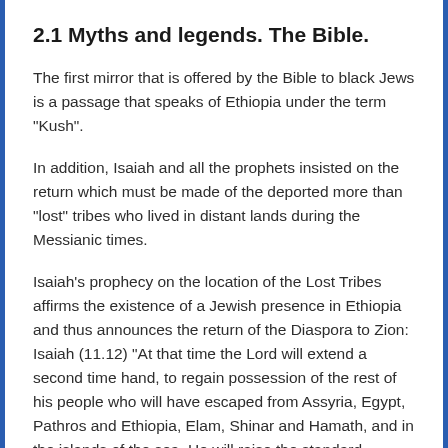2.1 Myths and legends. The Bible.
The first mirror that is offered by the Bible to black Jews is a passage that speaks of Ethiopia under the term "Kush".
In addition, Isaiah and all the prophets insisted on the return which must be made of the deported more than "lost" tribes who lived in distant lands during the Messianic times.
Isaiah's prophecy on the location of the Lost Tribes affirms the existence of a Jewish presence in Ethiopia and thus announces the return of the Diaspora to Zion: Isaiah (11.12) “At that time the Lord will extend a second time hand, to regain possession of the rest of his people who will have escaped from Assyria, Egypt, Pathros and Ethiopia, Elam, Shinar and Hamath, and in the islands of the sea. He will raise the standard towards the nations to gather up the exiles of Israel and gather the scattered remnants of Judah from the four corners of the earth. It takes